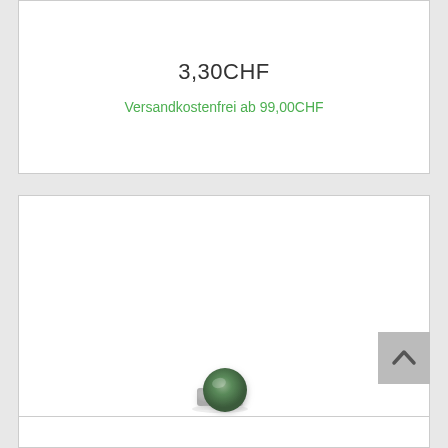3,30CHF
Versandkostenfrei ab 99,00CHF
[Figure (photo): Small green/teal circular dabber tip with a short cylindrical silver/grey stem, product photo on white background]
MTN STREET DABBER 10mm Ersatz Tip
1,40CHF
Versandkostenfrei ab 99,00CHF